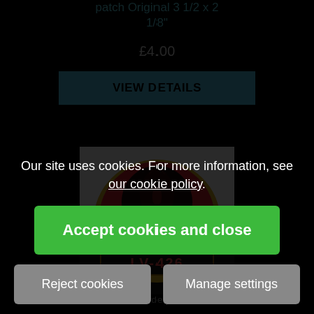patch Original 3 1/2 x 2 1/8"
£4.00
VIEW DETAILS
[Figure (photo): LV-426 Aliens embroidered patch with red circle and alien xenomorph design on black background with gold border]
Our site uses cookies. For more information, see our cookie policy.
Accept cookies and close
Reject cookies
Manage settings